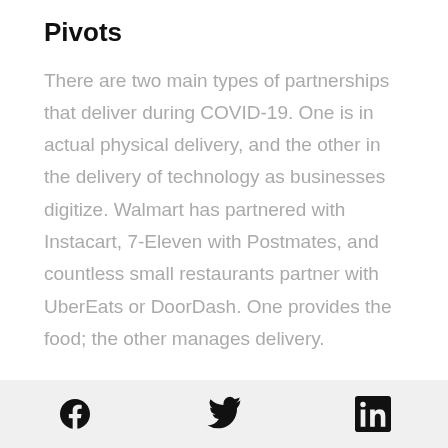Pivots
There are two main types of partnerships that deliver during COVID-19. One is in actual physical delivery, and the other in the delivery of technology as businesses digitize. Walmart has partnered with Instacart, 7-Eleven with Postmates, and countless small restaurants partner with UberEats or DoorDash. One provides the food; the other manages delivery.
Similarly, with tech partnerships, one provides the digital platform...
Facebook | Twitter | LinkedIn